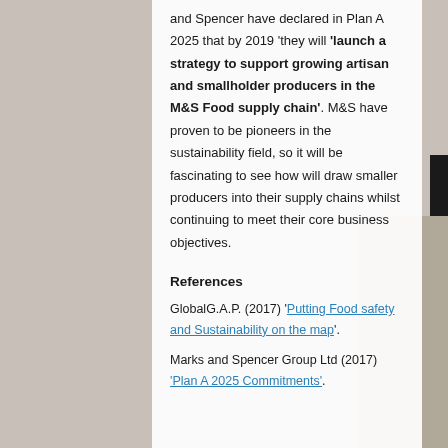and Spencer have declared in Plan A 2025 that by 2019 'they will 'launch a strategy to support growing artisan and smallholder producers in the M&S Food supply chain'. M&S have proven to be pioneers in the sustainability field, so it will be fascinating to see how will draw smaller producers into their supply chains whilst continuing to meet their core business objectives.
References
GlobalG.A.P. (2017) 'Putting Food safety and Sustainability on the map'.
Marks and Spencer Group Ltd (2017) 'Plan A 2025 Commitments'.